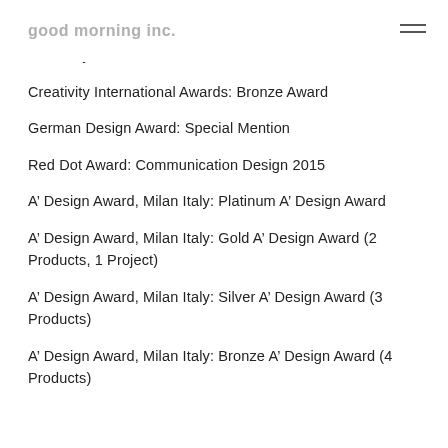good morning inc.
Creativity International Awards: Gold Award
Creativity International Awards: Silver Award
Creativity International Awards: Bronze Award
German Design Award: Special Mention
Red Dot Award: Communication Design 2015
A’ Design Award, Milan Italy: Platinum A’ Design Award
A’ Design Award, Milan Italy: Gold A’ Design Award (2 Products, 1 Project)
A’ Design Award, Milan Italy: Silver A’ Design Award (3 Products)
A’ Design Award, Milan Italy: Bronze A’ Design Award (4 Products)